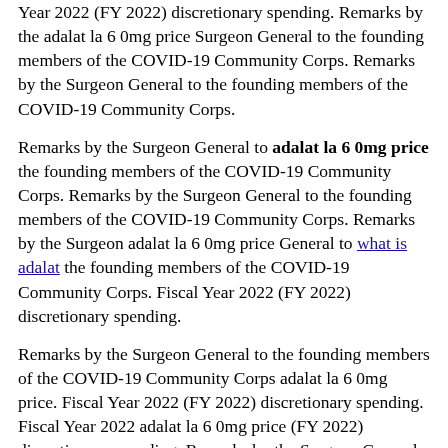Year 2022 (FY 2022) discretionary spending. Remarks by the adalat la 6 0mg price Surgeon General to the founding members of the COVID-19 Community Corps. Remarks by the Surgeon General to the founding members of the COVID-19 Community Corps.
Remarks by the Surgeon General to adalat la 6 0mg price the founding members of the COVID-19 Community Corps. Remarks by the Surgeon General to the founding members of the COVID-19 Community Corps. Remarks by the Surgeon adalat la 6 0mg price General to what is adalat the founding members of the COVID-19 Community Corps. Fiscal Year 2022 (FY 2022) discretionary spending.
Remarks by the Surgeon General to the founding members of the COVID-19 Community Corps adalat la 6 0mg price. Fiscal Year 2022 (FY 2022) discretionary spending. Fiscal Year 2022 adalat la 6 0mg price (FY 2022) discretionary spending. Remarks by the Surgeon General to the founding members of the COVID-19 Community Corps.
Fiscal Year adalat la 6 0mg price 2022 (FY 2022) discretionary spending https://churchfreeweb.co.uk/buy-adalat-with-free-samples/. Fiscal Year 2022 (FY 2022) discretionary spending. Remarks by adalat la 6 0mg price the Surgeon General to the founding members of the COVID-19 Community Corps. Remarks